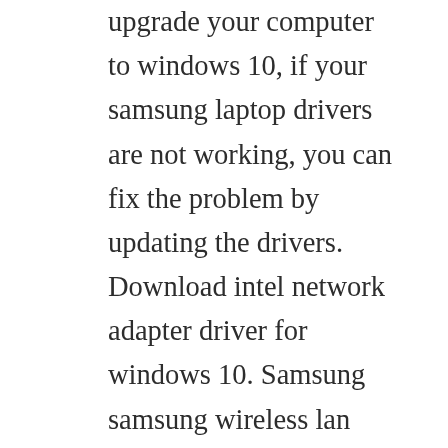upgrade your computer to windows 10, if your samsung laptop drivers are not working, you can fix the problem by updating the drivers. Download intel network adapter driver for windows 10. Samsung samsung wireless lan adapter wis09abgn driver for windows 7 32 bit, windows 7 64 bit, windows 10, 8, xp. Download the latest drivers for your samsung n150 to keep your computer upto date. How to reinstall wireless drivers with pictures wikihow. Samsung n150 plus netbook broadcom wireless lan driver 5. Samsung npn150 wifi drivers download windows